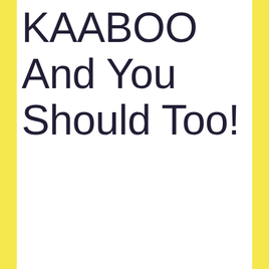KAABOO And You Should Too!
A few months ago, KAABOO dropped a lineup for a new location in Texas, expanding their empire so to speak. KAABOO Del Mar has always been on my festival bucket list because of the unique mix of music they put together on the lineup and the festival's focus on other indulgences – like comedy and food.  Tonight's post is going to take a closer look at some of the things that have the Living the